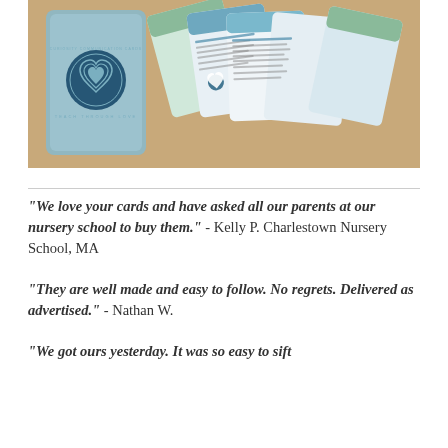[Figure (photo): Photo of Teach Through Love Curiosity Communication Cards — a teal/blue card deck box and several cards spread out showing prompts and a heart logo with swirling lines.]
"We love your cards and have asked all our parents at our nursery school to buy them." - Kelly P. Charlestown Nursery School, MA
"They are well made and easy to follow. No regrets. Delivered as advertised." - Nathan W.
"We got ours yesterday. It was so easy to sift